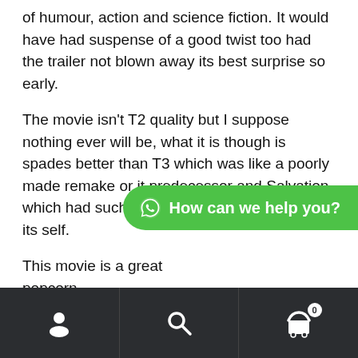of humour, action and science fiction. It would have had suspense of a good twist too had the trailer not blown away its best surprise so early.
The movie isn't T2 quality but I suppose nothing ever will be, what it is though is spades better than T3 which was like a poorly made remake or it predecessor and Salvation which had such promise but kinda folded on its self.
[Figure (screenshot): WhatsApp chat bubble button overlay reading 'How can we help you?']
This movie is a great popcorn [partially obscured] terminator universe. Acting might be a little wooden and the relationship between Sarah and Kyle feels more forced than Arnie's smile.  But the mythology  is given a nice addition and if the sequel gets green lit could make for an interesting trilogy.
[Figure (screenshot): Mobile app bottom navigation bar with user/account icon, search icon, and shopping cart icon with badge showing 0]